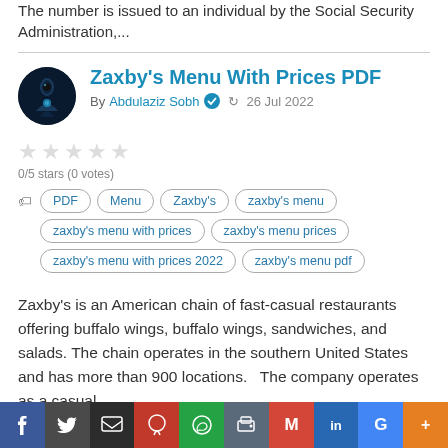The number is issued to an individual by the Social Security Administration,...
Zaxby's Menu With Prices PDF
By Abdulaziz Sobh  26 Jul 2022
0/5 stars (0 votes)
PDF
Menu
Zaxby's
zaxby's menu
zaxby's menu with prices
zaxby's menu prices
zaxby's menu with prices 2022
zaxby's menu pdf
Zaxby's is an American chain of fast-casual restaurants offering buffalo wings, buffalo wings, sandwiches, and salads. The chain operates in the southern United States and has more than 900 locations.   The company operates as a casual...